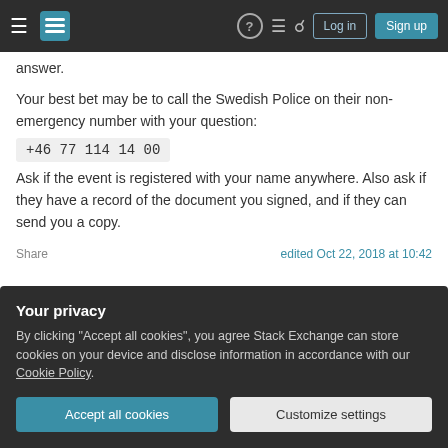Stack Exchange navigation bar with Log in and Sign up buttons
answer.
Your best bet may be to call the Swedish Police on their non-emergency number with your question:
+46 77 114 14 00
Ask if the event is registered with your name anywhere. Also ask if they have a record of the document you signed, and if they can send you a copy.
Share
edited Oct 22, 2018 at 10:42
Your privacy
By clicking "Accept all cookies", you agree Stack Exchange can store cookies on your device and disclose information in accordance with our Cookie Policy.
Accept all cookies
Customize settings